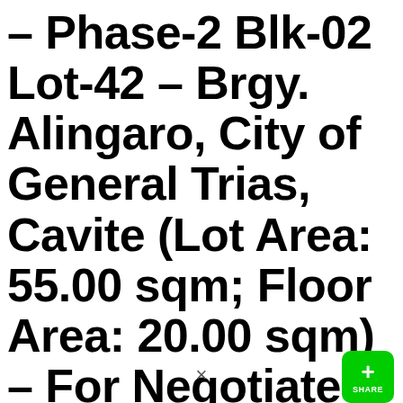– Phase-2 Blk-02 Lot-42 – Brgy. Alingaro, City of General Trias, Cavite (Lot Area: 55.00 sqm; Floor Area: 20.00 sqm) – For Negotiated Sale on July 18-22, 2022 (Continued)